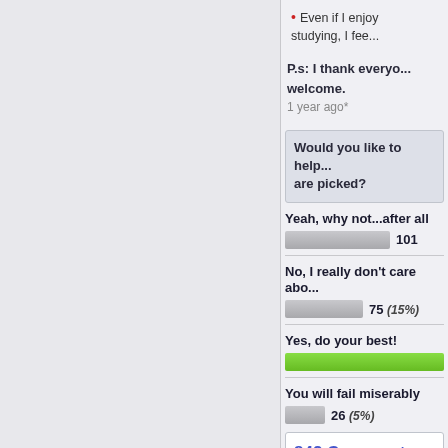Even if I enjoy studying, I fee...
P.s: I thank everyo... welcome.
1 year ago*
Would you like to help... are picked?
[Figure (bar-chart): Poll results]
842 Comments